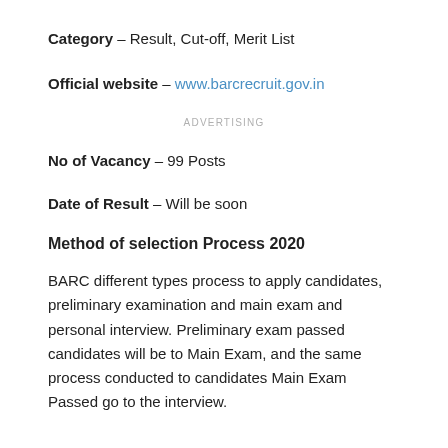Category – Result, Cut-off, Merit List
Official website – www.barcrecruit.gov.in
ADVERTISING
No of Vacancy – 99 Posts
Date of Result – Will be soon
Method of selection Process 2020
BARC different types process to apply candidates, preliminary examination and main exam and personal interview. Preliminary exam passed candidates will be to Main Exam, and the same process conducted to candidates Main Exam Passed go to the interview.